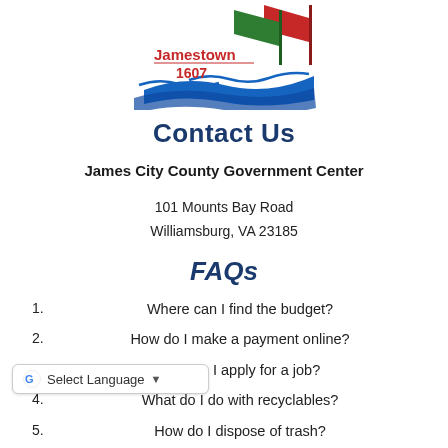[Figure (logo): Jamestown 1607 logo with red and green flags and blue wave design]
Contact Us
James City County Government Center
101 Mounts Bay Road
Williamsburg, VA 23185
FAQs
1. Where can I find the budget?
2. How do I make a payment online?
3. How do I apply for a job?
4. What do I do with recyclables?
5. How do I dispose of trash?